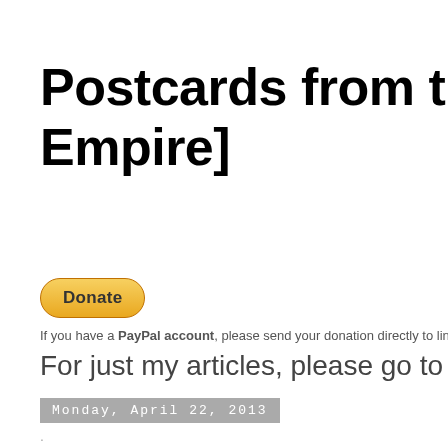Postcards from the Empire]
[Figure (other): PayPal Donate button]
If you have a PayPal account, please send your donation directly to li...
For just my articles, please go to Su...
Monday, April 22, 2013
.